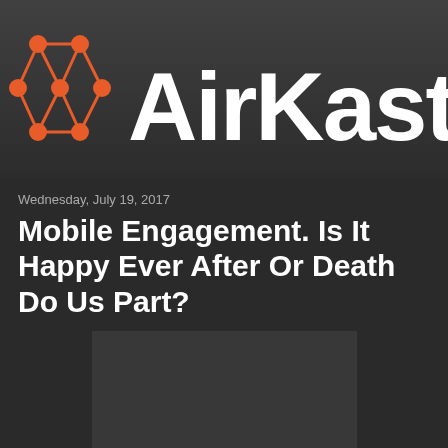[Figure (logo): AirKast logo with orange network/dot icon on left and white 'AirKast' text on dark background]
Wednesday, July 19, 2017
Mobile Engagement. Is It Happy Ever After Or Death Do Us Part?
[Figure (photo): Dark placeholder image, appears to be a video thumbnail]
Cigar Dave Live from Las Vegas